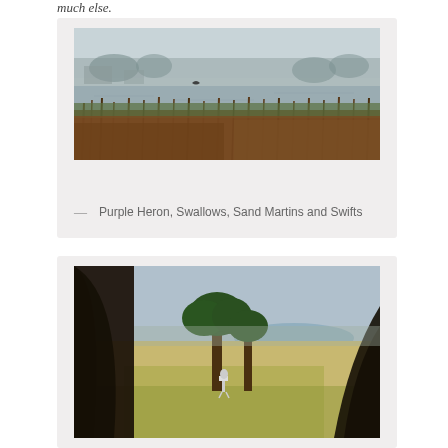much else.
[Figure (photo): Wetland scene with misty water, reeds and grasses in the foreground, and a bird in flight over the water. Trees and buildings visible in the foggy background.]
— Purple Heron, Swallows, Sand Martins and Swifts
[Figure (photo): Savanna landscape framed by dark tree trunks in foreground. A stork stands in a grassy field with trees and a blue lake or reservoir visible in the background.]